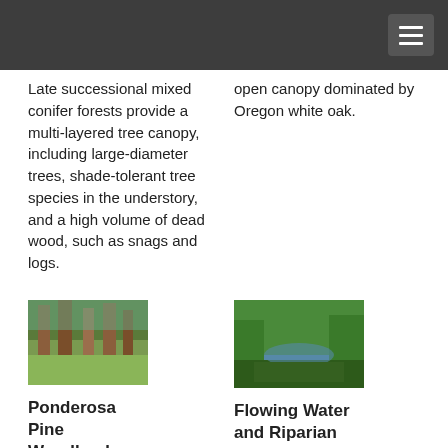Late successional mixed conifer forests provide a multi-layered tree canopy, including large-diameter trees, shade-tolerant tree species in the understory, and a high volume of dead wood, such as snags and logs.
open canopy dominated by Oregon white oak.
[Figure (photo): Tall ponderosa pine trees in a forest with green grass on the ground]
[Figure (photo): A stream flowing through dense green riparian vegetation with rocks]
Ponderosa Pine Woodlands
Flowing Water and Riparian Habitats